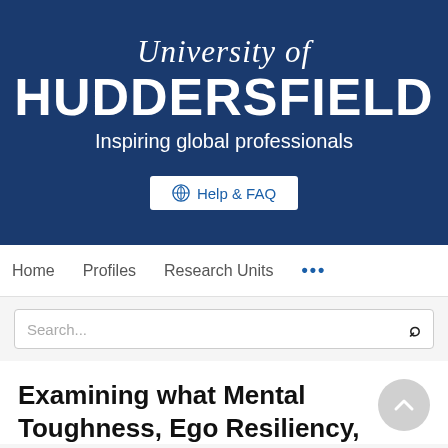[Figure (logo): University of Huddersfield logo banner with dark blue background, italic serif 'University of', bold sans-serif 'HUDDERSFIELD', and tagline 'Inspiring global professionals', with a Help & FAQ button]
Home   Profiles   Research Units   ...
Search...
Examining what Mental Toughness, Ego Resiliency,